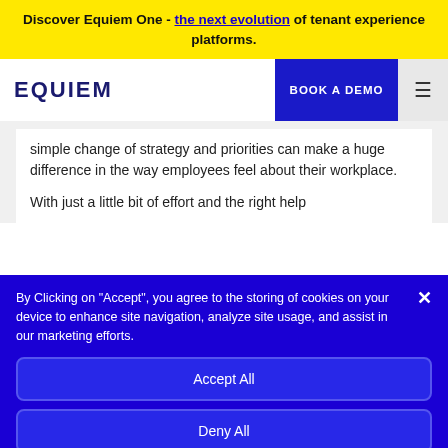Discover Equiem One - the next evolution of tenant experience platforms.
[Figure (logo): EQUIEM logo in dark blue bold uppercase letters]
simple change of strategy and priorities can make a huge difference in the way employees feel about their workplace.
With just a little bit of effort and the right help
By Clicking on "Accept", you agree to the storing of cookies on your device to enhance site navigation, analyze site usage, and assist in our marketing efforts.
Accept All
Deny All
Cookie Settings